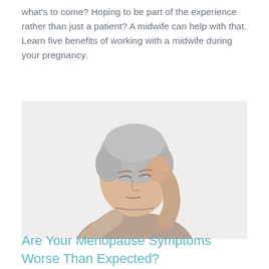what's to come? Hoping to be part of the experience rather than just a patient? A midwife can help with that. Learn five benefits of working with a midwife during your pregnancy.
[Figure (photo): An older woman with short gray hair resting her head on her hand with eyes closed, appearing tired or pensive. She is wearing a beige/taupe long-sleeve top against a light background.]
Are Your Menopause Symptoms Worse Than Expected?